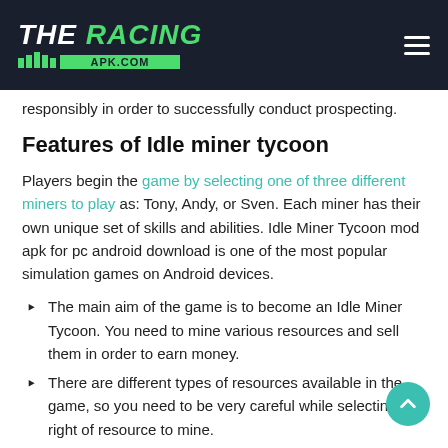THE RACING APK.COM
responsibly in order to successfully conduct prospecting.
Features of Idle miner tycoon
Players begin the game by selecting one of three different miners to play as: Tony, Andy, or Sven. Each miner has their own unique set of skills and abilities. Idle Miner Tycoon mod apk for pc android download is one of the most popular simulation games on Android devices.
The main aim of the game is to become an Idle Miner Tycoon. You need to mine various resources and sell them in order to earn money.
There are different types of resources available in the game, so you need to be very careful while selecting the right of resource to mine.